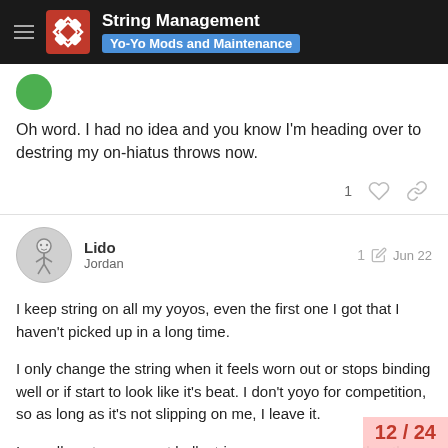String Management — Yo-Yo Mods and Maintenance
Oh word. I had no idea and you know I'm heading over to destring my on-hiatus throws now.
Lido
Jordan
1 Jun 22
I keep string on all my yoyos, even the first one I got that I haven't picked up in a long time.
I only change the string when it feels worn out or stops binding well or if start to look like it's beat. I don't yoyo for competition, so as long as it's not slipping on me, I leave it.
I usually put my current bulk string on a new yoyo rather than whatever came with it. Exceptions are loopers and the occasional yoyo that comes with a boutiq…
to try. Otherwise I just leave the string it c…
12 / 24